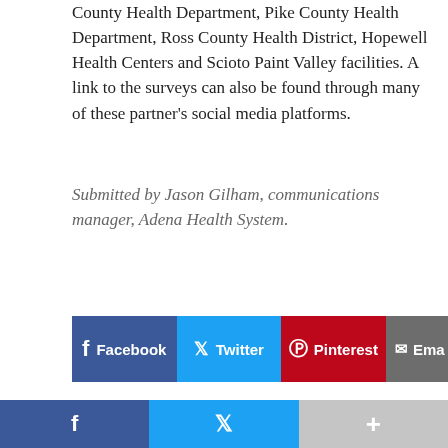County Health Department, Pike County Health Department, Ross County Health District, Hopewell Health Centers and Scioto Paint Valley facilities. A link to the surveys can also be found through many of these partner's social media platforms.
Submitted by Jason Gilham, communications manager, Adena Health System.
[Figure (screenshot): Social media share buttons: Facebook (blue), Twitter (cyan), Pinterest (red), Email (gray)]
SPONSORED CONTENT
[Figure (other): Carousel navigation dots: one filled dark circle and one smaller gray circle]
[Figure (screenshot): Load comments button - blue gradient button]
Facebook | Twitter | More (+)